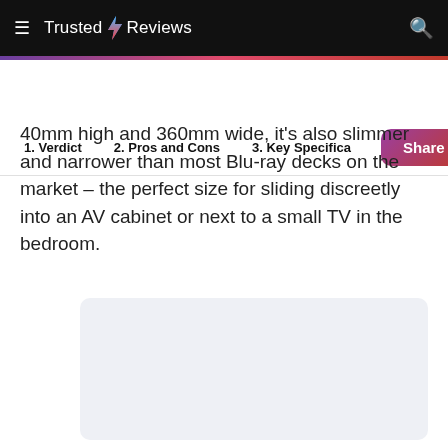Trusted Reviews
1. Verdict   2. Pros and Cons   3. Key Specifica   Share
40mm high and 360mm wide, it's also slimmer and narrower than most Blu-ray decks on the market – the perfect size for sliding discreetly into an AV cabinet or next to a small TV in the bedroom.
[Figure (other): Advertisement placeholder block (light blue-grey rectangle)]